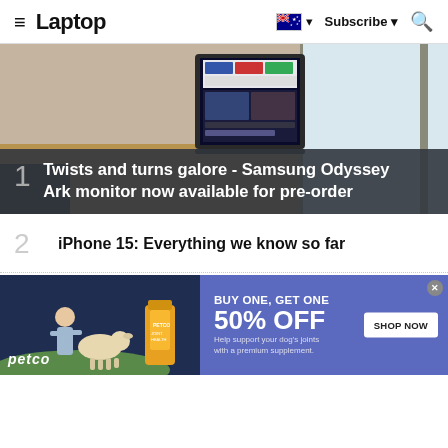≡ Laptop | Subscribe | Search
[Figure (photo): Photo of a curved Samsung Odyssey Ark monitor displayed in a room, showing a web browser on screen]
1 Twists and turns galore - Samsung Odyssey Ark monitor now available for pre-order
2 iPhone 15: Everything we know so far
[Figure (other): Petco advertisement banner: BUY ONE, GET ONE 50% OFF - Help support your dog's joints with a premium supplement. SHOP NOW]